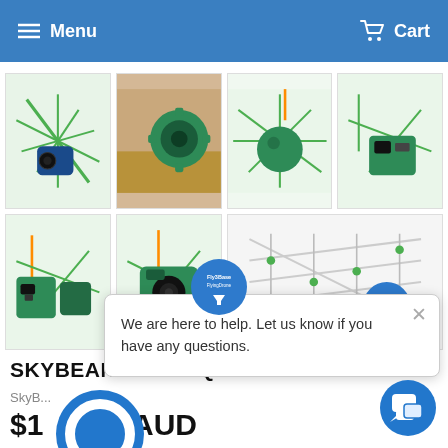Menu   Cart
[Figure (photo): Product image grid showing SkyBean Chaser drone with camera mounts in green and teal colors, 7 product photos arranged in 2 rows]
SKYBEAN CHASEQ
SkyB...
$1...00 AUD
[Figure (infographic): Fly3Base circular badge logo in blue]
We are here to help. Let us know if you have any questions.
[Figure (illustration): Blue circular chat button icon in bottom right corner]